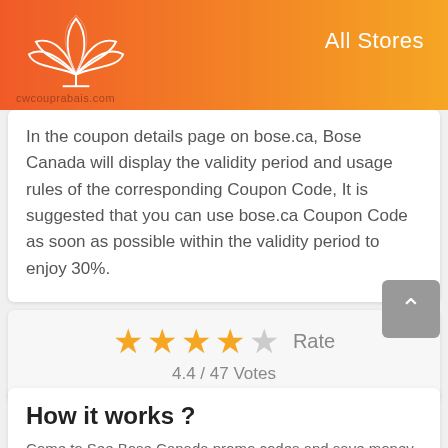All Stores
In the coupon details page on bose.ca, Bose Canada will display the validity period and usage rules of the corresponding Coupon Code, It is suggested that you can use bose.ca Coupon Code as soon as possible within the validity period to enjoy 30%.
4.4 / 47 Votes
How it works ?
Come to See Bose Canada promo codes and save money online! You may firstly choose the brand or discount